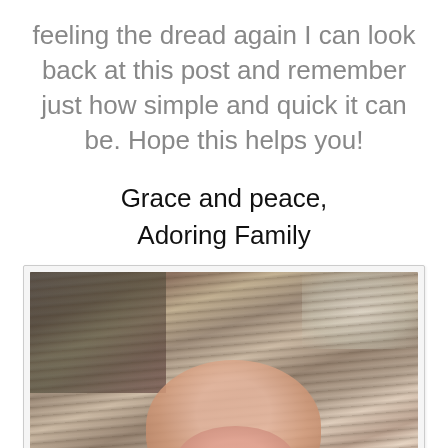feeling the dread again I can look back at this post and remember just how simple and quick it can be. Hope this helps you!
Grace and peace,
Adoring Family
[Figure (photo): A woman with long brown hair leaning down and kissing or nuzzling a newborn baby, shown in a close-up photo with a card/polaroid style border.]